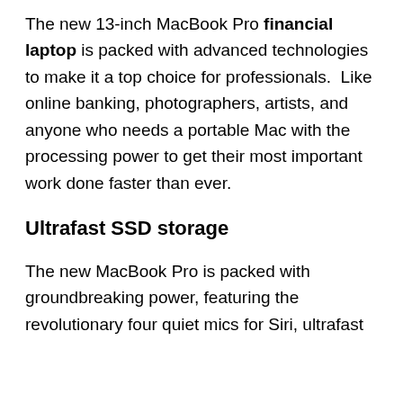The new 13-inch MacBook Pro financial laptop is packed with advanced technologies to make it a top choice for professionals.  Like online banking, photographers, artists, and anyone who needs a portable Mac with the processing power to get their most important work done faster than ever.
Ultrafast SSD storage
The new MacBook Pro is packed with groundbreaking power, featuring the revolutionary four quiet mics for Siri, ultrafast